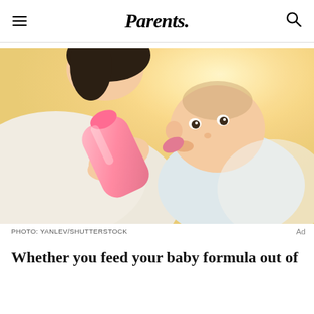Parents.
[Figure (photo): A mother feeding a baby with a pink bottle, warm sunlit background]
PHOTO: YANLEV/SHUTTERSTOCK
Whether you feed your baby formula out of